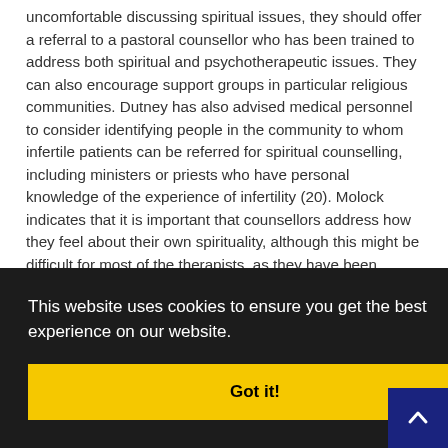uncomfortable discussing spiritual issues, they should offer a referral to a pastoral counsellor who has been trained to address both spiritual and psychotherapeutic issues. They can also encourage support groups in particular religious communities. Dutney has also advised medical personnel to consider identifying people in the community to whom infertile patients can be referred for spiritual counselling, including ministers or priests who have personal knowledge of the experience of infertility (20). Molock indicates that it is important that counsellors address how they feel about their own spirituality, although this might be difficult for most of the therapists, as they have been trained to avoid religious issues in counselling. She emphasized,
…nsellors to …spiritual
…spiritual …t to keep …ential …rticipants self-reports of their religiosity and spirituality. The othe…
This website uses cookies to ensure you get the best experience on our website.
Got it!